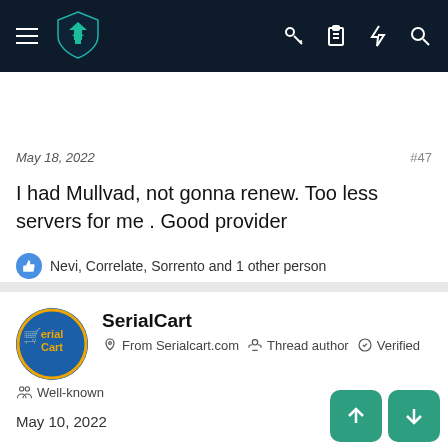[Figure (screenshot): Dark navy top navigation bar with hamburger menu, teal shield logo, and icons for key, clipboard, lightning, and search on the right]
May 18, 2022
#47
I had Mullvad, not gonna renew. Too less servers for me . Good provider
Nevi, Correlate, Sorrento and 1 other person
Reply
SerialCart
From Serialcart.com  Thread author  Verified
Well-known
May 10, 2022